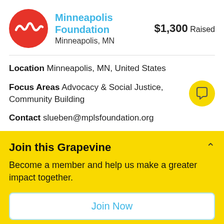[Figure (logo): Minneapolis Foundation red circle logo with white wave/squiggle design]
Minneapolis Foundation
Minneapolis, MN
$1,300 Raised
Location Minneapolis, MN, United States
Focus Areas Advocacy & Social Justice, Community Building
Contact slueben@mplsfoundation.org
Join this Grapevine
Become a member and help us make a greater impact together.
Join Now